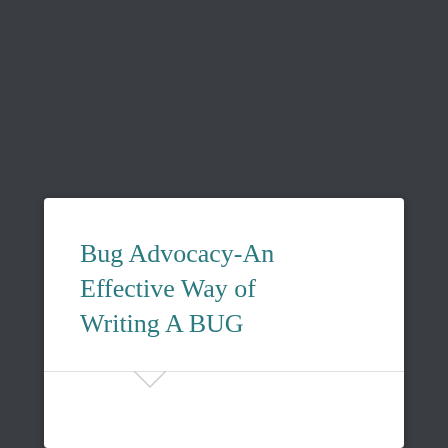Bug Advocacy-An Effective Way of Writing A BUG